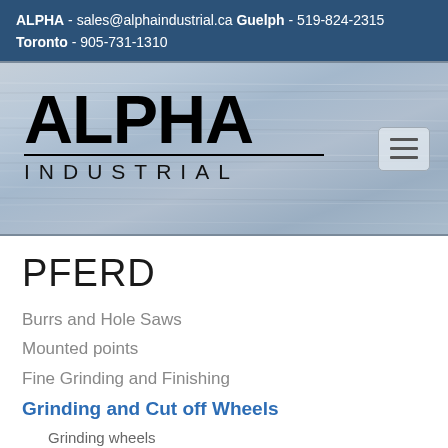ALPHA - sales@alphaindustrial.ca Guelph - 519-824-2315 Toronto - 905-731-1310
[Figure (logo): Alpha Industrial company logo on a blue-grey metallic background with hamburger menu icon]
PFERD
Burrs and Hole Saws
Mounted points
Fine Grinding and Finishing
Grinding and Cut off Wheels
Grinding wheels
POLIFAN® Flap Discs
Pipeline grinding and notching wheels